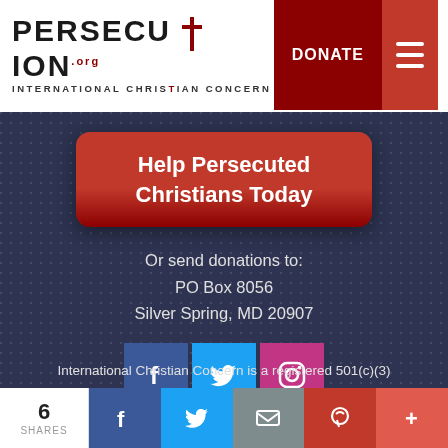PERSECUTION.org INTERNATIONAL CHRISTIAN CONCERN | DONATE
Help Persecuted Christians Today
Or send donations to:
PO Box 8056
Silver Spring, MD 20907
[Figure (infographic): Social media icon grid: Facebook (blue), Twitter (light blue), Instagram (pink); YouTube (red), TikTok (pink/red), LinkedIn (blue)]
International Christian Concern is a registered 501(c)(3)
6 SHARES | Facebook | Twitter | Email | Pinterest | +